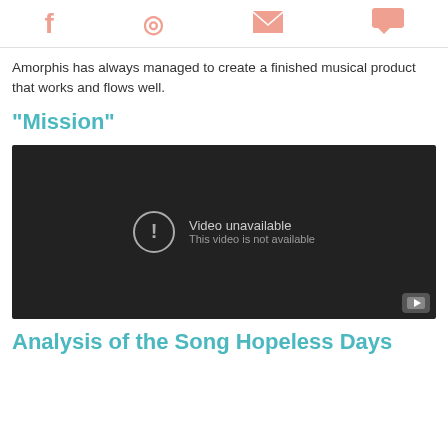Facebook Pinterest Email Chat
Amorphis has always managed to create a finished musical product that works and flows well.
"Mission"
[Figure (screenshot): Embedded YouTube video player showing 'Video unavailable - This video is not available' error message on dark background.]
Analysis of the Song Hopeless Days